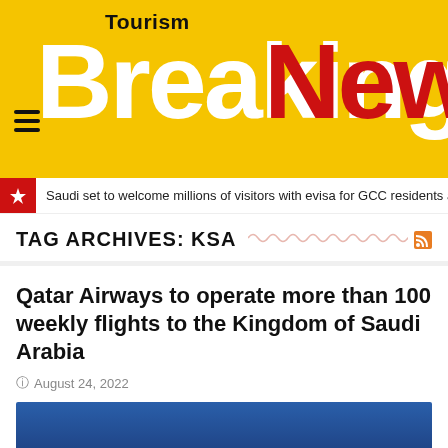Tourism Breaking News
Saudi set to welcome millions of visitors with evisa for GCC residents and vis
TAG ARCHIVES: KSA
Qatar Airways to operate more than 100 weekly flights to the Kingdom of Saudi Arabia
August 24, 2022
[Figure (photo): Blue sky background image, cropped at bottom of page]